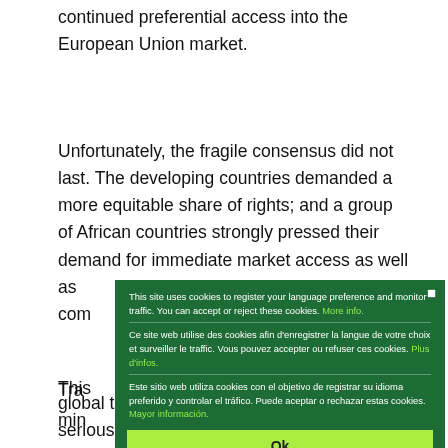continued preferential access into the European Union market.
Unfortunately, the fragile consensus did not last. The developing countries demanded a more equitable share of rights; and a group of African countries strongly pressed their demand for immediate market access as well as com...
[Figure (screenshot): Cookie consent modal overlay with dark green background. Contains three language versions of a cookie notice (English, French, Spanish) with 'More info', 'Plus d'infos', and 'Mayor información' links in light green. A yellow-green 'Ok' button appears at the bottom. A close (x) button is in the top right corner.]
global trade. However, there has been no serious effort to